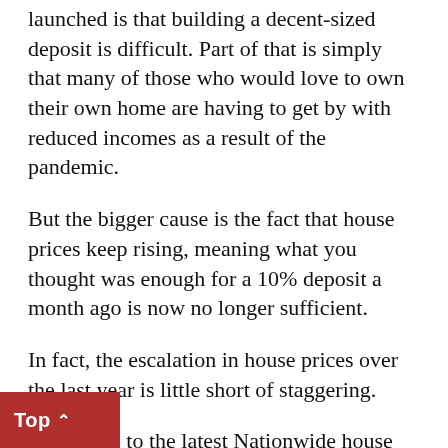launched is that building a decent-sized deposit is difficult. Part of that is simply that many of those who would love to own their own home are having to get by with reduced incomes as a result of the pandemic.
But the bigger cause is the fact that house prices keep rising, meaning what you thought was enough for a 10% deposit a month ago is now no longer sufficient.
In fact, the escalation in house prices over the last year is little short of staggering.
According to the latest Nationwide house price index, annual house price growth stands at 5.7%, which is quite something given we’re still in a pandemic.
Of course, a significant factor in that growth is the Stamp Duty holiday introduced by the Government, which once again is aimed at boosting demand for homes.